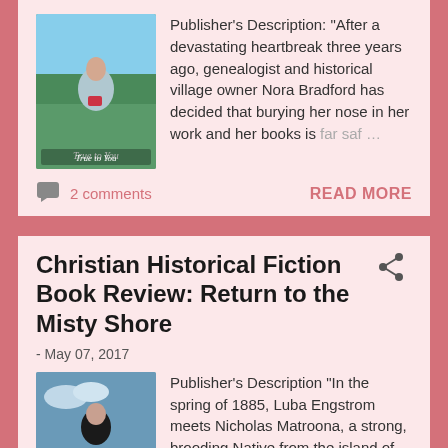Publisher's Description: "After a devastating heartbreak three years ago, genealogist and historical village owner Nora Bradford has decided that burying her nose in her work and her books is far saf …
2 comments
READ MORE
Christian Historical Fiction Book Review: Return to the Misty Shore
- May 07, 2017
Publisher's Description "In the spring of 1885, Luba Engstrom meets Nicholas Matroona, a strong, brooding Native from the island of Unalaska. Against her parents'